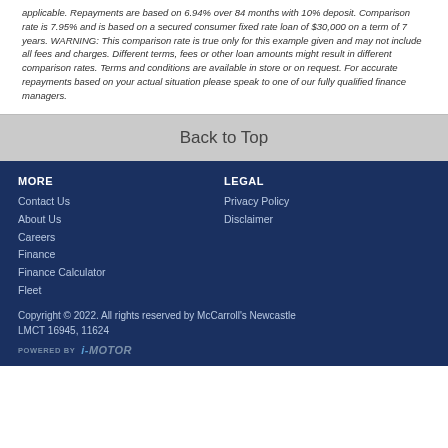applicable. Repayments are based on 6.94% over 84 months with 10% deposit. Comparison rate is 7.95% and is based on a secured consumer fixed rate loan of $30,000 on a term of 7 years. WARNING: This comparison rate is true only for this example given and may not include all fees and charges. Different terms, fees or other loan amounts might result in different comparison rates. Terms and conditions are available in store or on request. For accurate repayments based on your actual situation please speak to one of our fully qualified finance managers.
Back to Top
MORE
Contact Us
About Us
Careers
Finance
Finance Calculator
Fleet
LEGAL
Privacy Policy
Disclaimer
Copyright © 2022. All rights reserved by McCarroll's Newcastle LMCT 16945, 11624
POWERED BY i-MOTOR